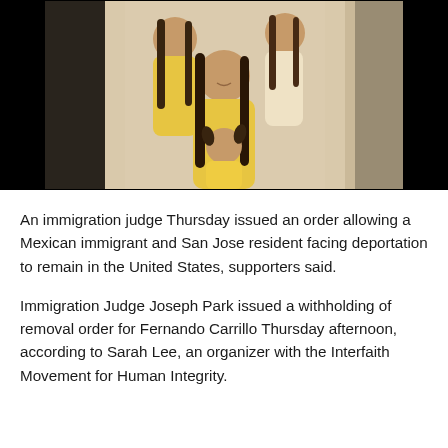[Figure (photo): A family photo showing a woman with four children, all wearing yellow tops, posed together against a light background.]
An immigration judge Thursday issued an order allowing a Mexican immigrant and San Jose resident facing deportation to remain in the United States, supporters said.
Immigration Judge Joseph Park issued a withholding of removal order for Fernando Carrillo Thursday afternoon, according to Sarah Lee, an organizer with the Interfaith Movement for Human Integrity.